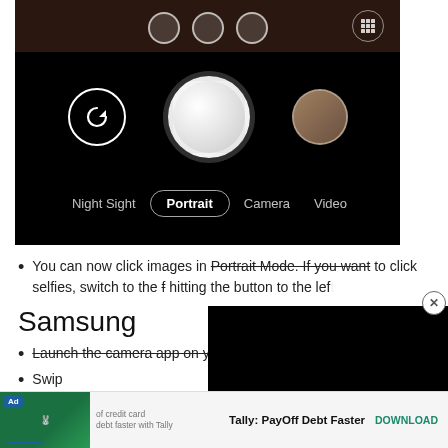[Figure (screenshot): Google Pixel camera app interface showing Portrait mode selected, with rotate/flip button on left, large shutter button in center, thumbnail on right, and mode options: Night Sight, Portrait (selected/highlighted), Camera, Video]
You can now click images in Portrait Mode. If you want to click selfies, switch to the front camera by hitting the button to the lef
Samsung
Launch the camera app on your phone
Swip
Nex